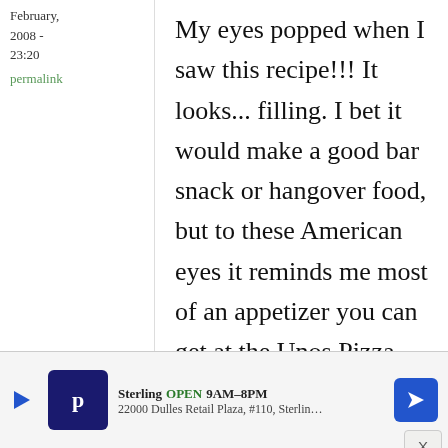February, 2008 - 23:20
permalink
My eyes popped when I saw this recipe!!! It looks... filling. I bet it would make a good bar snack or hangover food, but to these American eyes it reminds me most of an appetizer you can get at the Unos Pizza chain... the one with mashed
Sterling  OPEN  9AM-8PM  22000 Dulles Retail Plaza, #110, Sterling